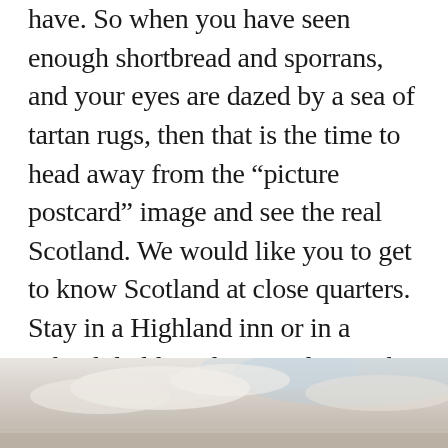have. So when you have seen enough shortbread and sporrans, and your eyes are dazed by a sea of tartan rugs, then that is the time to head away from the “picture postcard” image and see the real Scotland. We would like you to get to know Scotland at close quarters. Stay in a Highland inn or in a splendid old castle, complete with resident ghost. Here you will meet people who are proud of their country and proud to welcome visitors, with a hospitality seldom found in this modern age.
[Figure (photo): Partial aerial or landscape photograph showing a pale sky with soft clouds and a hint of land or water at the bottom, rendered in muted pastel tones of white, light blue, and sandy beige.]